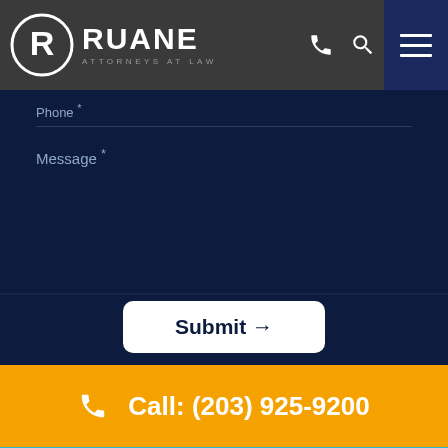[Figure (logo): Ruane Attorneys at Law logo with circular R emblem and navigation header with phone icon, search icon, and hamburger menu]
Phone *
Message *
Submit →
Call: (203) 925-9200
Text: (203) 925-9200